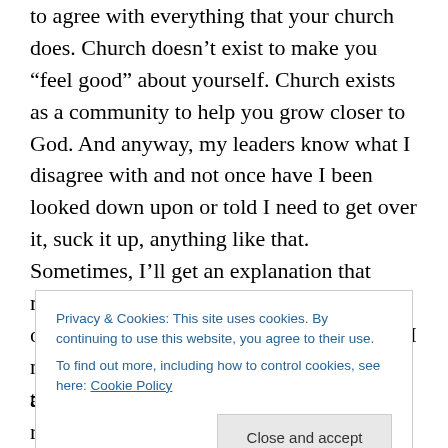to agree with everything that your church does. Church doesn't exist to make you “feel good” about yourself. Church exists as a community to help you grow closer to God. And anyway, my leaders know what I disagree with and not once have I been looked down upon or told I need to get over it, suck it up, anything like that. Sometimes, I’ll get an explanation that makes sense and actually changes my point of view. Other times, I just don’t get it and I never may, and that is okay. I do not have to 100% agree
Privacy & Cookies: This site uses cookies. By continuing to use this website, you agree to their use.
To find out more, including how to control cookies, see here: Cookie Policy
and both are quickly fading. My relationship with